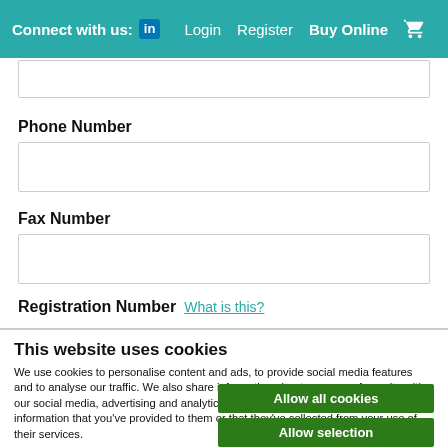Connect with us: [LinkedIn] Login Register Buy Online [cart]
Phone Number
Fax Number
Registration Number   What is this?
This website uses cookies
We use cookies to personalise content and ads, to provide social media features and to analyse our traffic. We also share information about your use of our site with our social media, advertising and analytics partners who may combine it with other information that you've provided to them or that they've collected from your use of their services.
Allow all cookies
Allow selection